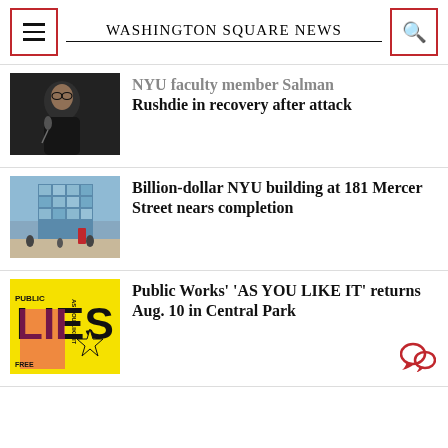Washington Square News
NYU faculty member Salman Rushdie in recovery after attack
Billion-dollar NYU building at 181 Mercer Street nears completion
Public Works' 'AS YOU LIKE IT' returns Aug. 10 in Central Park